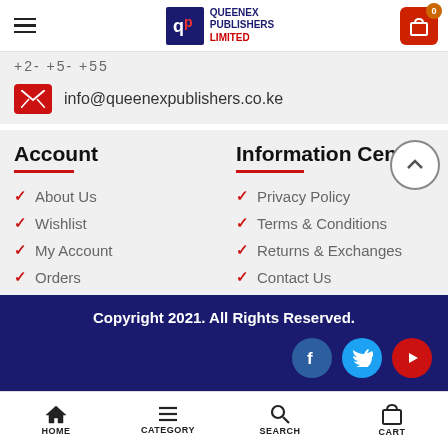Queenex Publishers Limited – site header with cart
+2- +5- +55
info@queenexpublishers.co.ke
Account
About Us
Wishlist
My Account
Orders
Information Center
Privacy Policy
Terms & Conditions
Returns & Exchanges
Contact Us
Copyright 2021. All Rights Reserved.
HOME  CATEGORY  SEARCH  CART